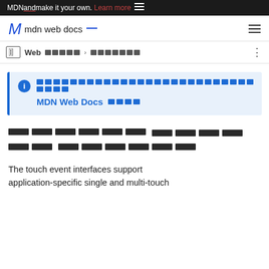MDN and make it your own. Learn more [menu]
[Figure (logo): MDN Web Docs logo with text 'mdn web docs _']
Web [redacted] > [redacted]
[info box] [redacted line] MDN Web Docs [redacted]
[redacted title blocks]
The touch event interfaces support application-specific single and multi-touch